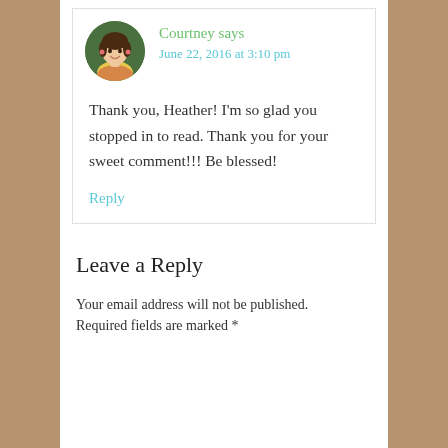[Figure (photo): Circular avatar photo of a smiling young woman with dark hair, wearing a yellow top and plaid scarf, against a green background]
Courtney says
June 22, 2016 at 3:10 pm
Thank you, Heather! I'm so glad you stopped in to read. Thank you for your sweet comment!!! Be blessed!
Reply
Leave a Reply
Your email address will not be published. Required fields are marked *